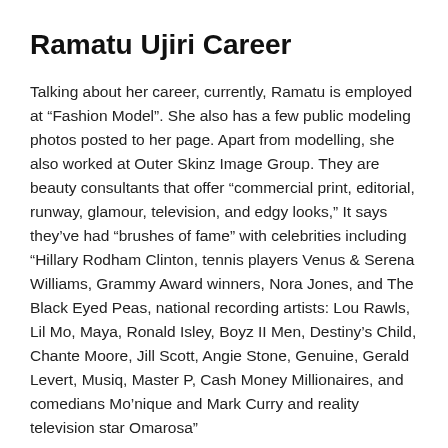Ramatu Ujiri Career
Talking about her career, currently, Ramatu is employed at “Fashion Model”. She also has a few public modeling photos posted to her page. Apart from modelling, she also worked at Outer Skinz Image Group. They are beauty consultants that offer “commercial print, editorial, runway, glamour, television, and edgy looks,” It says they’ve had “brushes of fame” with celebrities including “Hillary Rodham Clinton, tennis players Venus & Serena Williams, Grammy Award winners, Nora Jones, and The Black Eyed Peas, national recording artists: Lou Rawls, Lil Mo, Maya, Ronald Isley, Boyz II Men, Destiny’s Child, Chante Moore, Jill Scott, Angie Stone, Genuine, Gerald Levert, Musiq, Master P, Cash Money Millionaires, and comedians Mo’nique and Mark Curry and reality television star Omarosa”